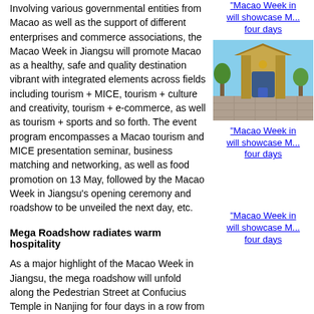Involving various governmental entities from Macao as well as the support of different enterprises and commerce associations, the Macao Week in Jiangsu will promote Macao as a healthy, safe and quality destination vibrant with integrated elements across fields including tourism + MICE, tourism + culture and creativity, tourism + e-commerce, as well as tourism + sports and so forth. The event program encompasses a Macao tourism and MICE presentation seminar, business matching and networking, as well as food promotion on 13 May, followed by the Macao Week in Jiangsu's opening ceremony and roadshow to be unveiled the next day, etc.
"Macao Week in ... will showcase M... four days"
[Figure (photo): Photo of a decorative gate/archway structure, possibly a Chinese-style entrance gate, with trees and blue sky in background]
"Macao Week in ... will showcase M... four days"
Mega Roadshow radiates warm hospitality
As a major highlight of the Macao Week in Jiangsu, the mega roadshow will unfold along the Pedestrian Street at Confucius Temple in Nanjing for four days in a row from 14 May to showcase Macao's tourism, commerce and trade, culture, creativity, sports, entertainment and more dimensions. To radiate Macao's spirit of hospitality in the city, a variety of themed zones/booths will be set up along the Pedestrian Street, including a showcase of Macao overview and tourism events; Macao's tourism industry; Macao's World Heritage, Intangible Cultural Heritage and Macao Good Shop... sport events in Macao; trade, commerce and economy of Macao; and Tourist... counter.
"Macao Week in ... will showcase M... four days"